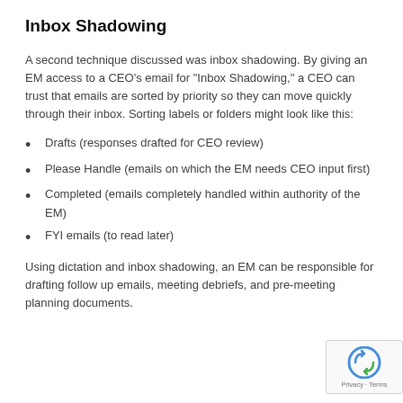Inbox Shadowing
A second technique discussed was inbox shadowing. By giving an EM access to a CEO’s email for “Inbox Shadowing,” a CEO can trust that emails are sorted by priority so they can move quickly through their inbox. Sorting labels or folders might look like this:
Drafts (responses drafted for CEO review)
Please Handle (emails on which the EM needs CEO input first)
Completed (emails completely handled within authority of the EM)
FYI emails (to read later)
Using dictation and inbox shadowing, an EM can be responsible for drafting follow up emails, meeting debriefs, and pre-meeting planning documents.